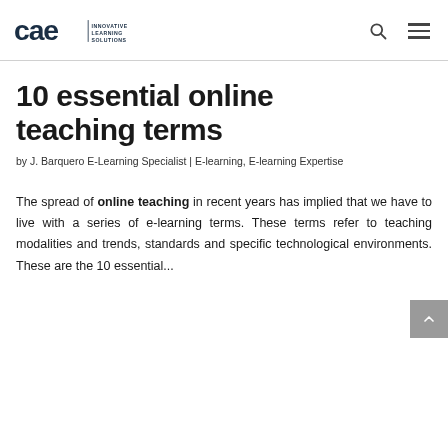CAE Innovative Learning Solutions
10 essential online teaching terms
by J. Barquero E-Learning Specialist | E-learning, E-learning Expertise
The spread of online teaching in recent years has implied that we have to live with a series of e-learning terms. These terms refer to teaching modalities and trends, standards and specific technological environments. These are the 10 essential...